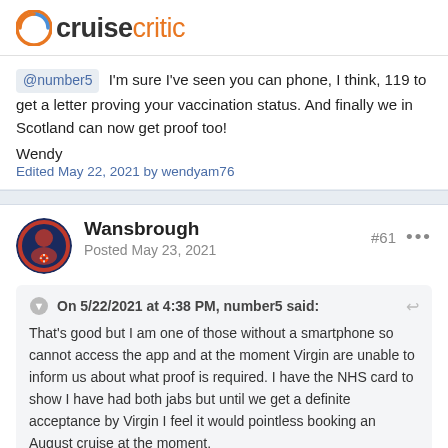cruisecritic
@number5 I'm sure I've seen you can phone, I think, 119 to get a letter proving your vaccination status. And finally we in Scotland can now get proof too!
Wendy
Edited May 22, 2021 by wendyam76
Wansbrough
Posted May 23, 2021
#61
On 5/22/2021 at 4:38 PM, number5 said:
That's good but I am one of those without a smartphone so cannot access the app and at the moment Virgin are unable to inform us about what proof is required. I have the NHS card to show I have had both jabs but until we get a definite acceptance by Virgin I feel it would pointless booking an August cruise at the moment.